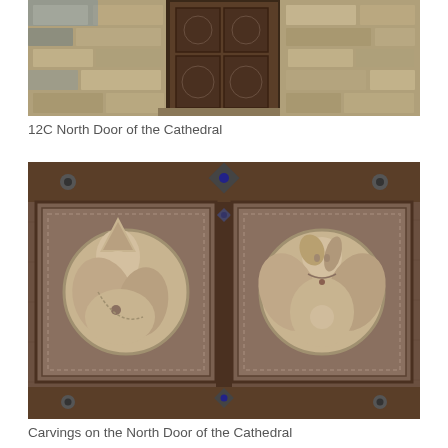[Figure (photo): Photograph of the 12th century North Door of a cathedral, showing ornate wooden door panels with carved decorations set within a stone archway and brick facade.]
12C North Door of the Cathedral
[Figure (photo): Close-up photograph of carved wooden panels on the North Door of the Cathedral, showing two relief carvings: a bishop figure in mitre on the left and an angel or figure within a circular medallion on the right.]
Carvings on the North Door of the Cathedral